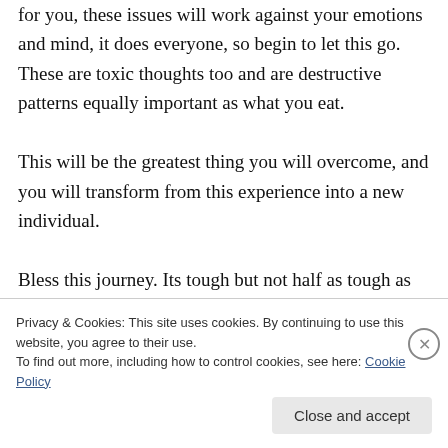for you, these issues will work against your emotions and mind, it does everyone, so begin to let this go. These are toxic thoughts too and are destructive patterns equally important as what you eat. This will be the greatest thing you will overcome, and you will transform from this experience into a new individual. Bless this journey. Its tough but not half as tough as you, so just go forward and you will show your self, your mind, and your internal chatter
Privacy & Cookies: This site uses cookies. By continuing to use this website, you agree to their use. To find out more, including how to control cookies, see here: Cookie Policy
Close and accept